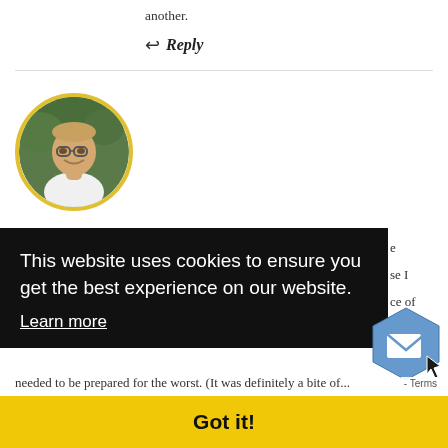another.
↩ Reply
[Figure (photo): Circular avatar photo of a man with glasses, smiling, wearing a white shirt, with a yellow/gold circular border around the photo]
Elizabeth · March 30, 2016
e
se I
ce of
ght
foo
This website uses cookies to ensure you get the best experience on our website. Learn more
Got it!
needed to be prepared for the worst. (It was definitely a bite of...
[Figure (illustration): Blue hexagonal mail/email icon with envelope symbol, with a cursor/arrow overlay]